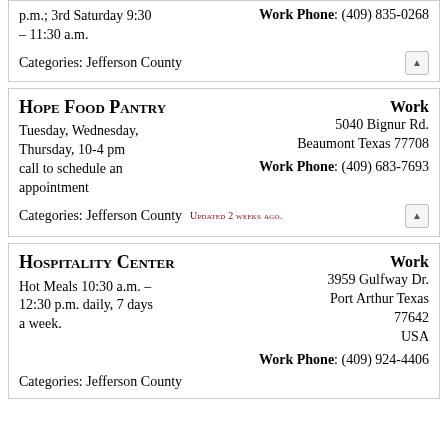p.m.; 3rd Saturday 9:30 – 11:30 a.m.
Work Phone: (409) 835-0268
Categories: Jefferson County
Hope Food Pantry
Tuesday, Wednesday, Thursday, 10-4 pm call to schedule an appointment
Work
5040 Bignur Rd.
Beaumont Texas 77708
Work Phone: (409) 683-7693
Categories: Jefferson County
Updated 2 weeks ago.
Hospitality Center
Hot Meals 10:30 a.m. – 12:30 p.m. daily, 7 days a week.
Work
3959 Gulfway Dr.
Port Arthur Texas 77642
USA
Work Phone: (409) 924-4406
Categories: Jefferson County